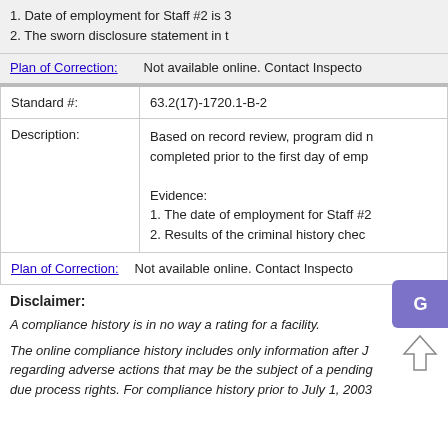1. Date of employment for Staff #2 is 3
2. The sworn disclosure statement in t
Plan of Correction: Not available online. Contact Inspecto
| Field | Value |
| --- | --- |
| Standard #: | 63.2(17)-1720.1-B-2 |
| Description: | Based on record review, program did ne completed prior to the first day of emp

Evidence:
1. The date of employment for Staff #2
2. Results of the criminal history chec |
| Plan of Correction: | Not available online. Contact Inspecto |
Disclaimer:
A compliance history is in no way a rating for a facility.
The online compliance history includes only information after J regarding adverse actions that may be the subject of a pending due process rights. For compliance history prior to July 1, 2003